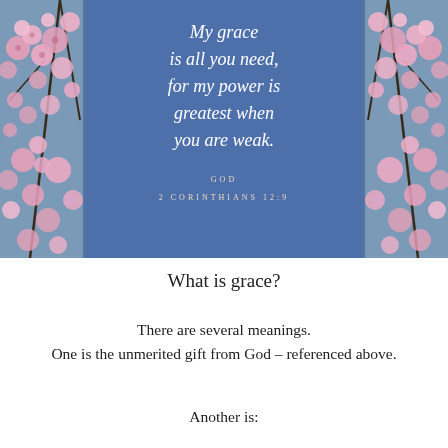[Figure (illustration): Photo of pink cherry blossoms against a blue sky, with a semi-transparent blue overlay panel in the center containing an italic Bible verse: 'My grace is all you need, for my power is greatest when you are weak.' attributed to GOD, 2 CORINTHIANS 12:9]
What is grace?
There are several meanings.
One is the unmerited gift from God – referenced above.
Another is: